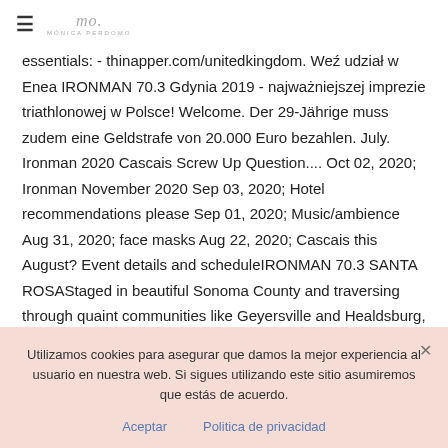≡ mó. MÓNICA PERDOMO
essentials: - thinapper.com/unitedkingdom. Weź udział w Enea IRONMAN 70.3 Gdynia 2019 - najważniejszej imprezie triathlonowej w Polsce! Welcome. Der 29-Jährige muss zudem eine Geldstrafe von 20.000 Euro bezahlen. July. Ironman 2020 Cascais Screw Up Question.... Oct 02, 2020; Ironman November 2020 Sep 03, 2020; Hotel recommendations please Sep 01, 2020; Music/ambience Aug 31, 2020; face masks Aug 22, 2020; Cascais this August? Event details and scheduleIRONMAN 70.3 SANTA ROSAStaged in beautiful Sonoma County and traversing through quaint communities like Geyersville and Healdsburg, IRONMAN 70.3 Santa Rosa draws not only triathletes, but their wine and food loving family and support crews back every year. November) und der Doppelveranstaltung
Utilizamos cookies para asegurar que damos la mejor experiencia al usuario en nuestra web. Si sigues utilizando este sitio asumiremos que estás de acuerdo.
Aceptar    Politica de privacidad